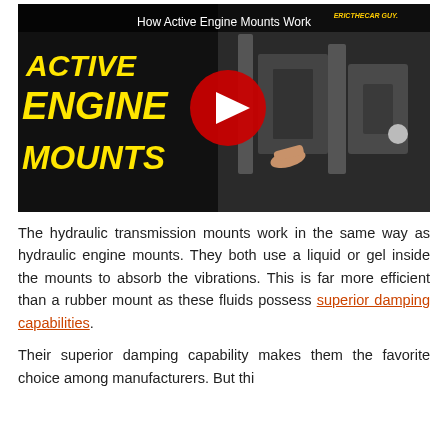[Figure (screenshot): YouTube video thumbnail for 'How Active Engine Mounts Work' by EricTheCarGuy, showing bold yellow text 'ACTIVE ENGINE MOUNTS' on the left and a cross-section of an engine mount on the right, with a red YouTube play button overlay in the center.]
The hydraulic transmission mounts work in the same way as hydraulic engine mounts. They both use a liquid or gel inside the mounts to absorb the vibrations. This is far more efficient than a rubber mount as these fluids possess superior damping capabilities.
Their superior damping capability makes them the favorite choice among manufacturers. But this